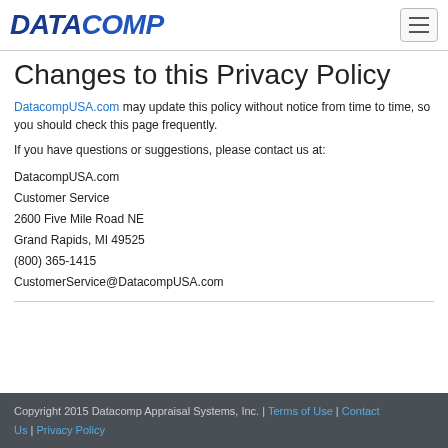DATACOMP
Changes to this Privacy Policy
DatacompUSA.com may update this policy without notice from time to time, so you should check this page frequently.
If you have questions or suggestions, please contact us at:
DatacompUSA.com
Customer Service
2600 Five Mile Road NE
Grand Rapids, MI 49525
(800) 365-1415
CustomerService@DatacompUSA.com
Copyright 2015 Datacomp Appraisal Systems, Inc. | Terms of Use | Contact Us | Privacy Policy